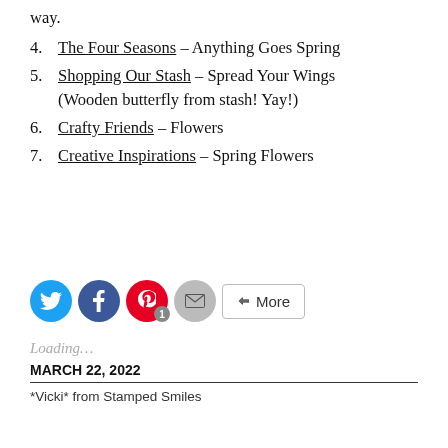way.
4. The Four Seasons – Anything Goes Spring
5. Shopping Our Stash – Spread Your Wings (Wooden butterfly from stash! Yay!)
6. Crafty Friends – Flowers
7. Creative Inspirations – Spring Flowers
[Figure (infographic): Social sharing buttons: Twitter (blue circle), Facebook (blue circle), Pinterest (red circle with badge '1'), Email (grey circle), More button]
Loading...
MARCH 22, 2022
*Vicki* from Stamped Smiles